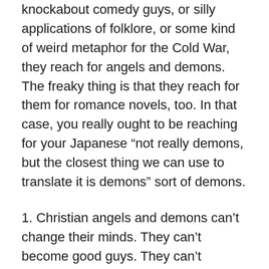knockabout comedy guys, or silly applications of folklore, or some kind of weird metaphor for the Cold War, they reach for angels and demons. The freaky thing is that they reach for them for romance novels, too. In that case, you really ought to be reaching for your Japanese “not really demons, but the closest thing we can use to translate it is demons” sort of demons.
1. Christian angels and demons can’t change their minds. They can’t become good guys. They can’t become bad guys. They can’t. They picked their path already. You have to be dealing with some seriously weird groups before you find any theologians who think otherwise.
Since they aren’t going to have a character growth arc, the way to get around this is for humans to have an arc of getting to know these beings, or beginning to understand